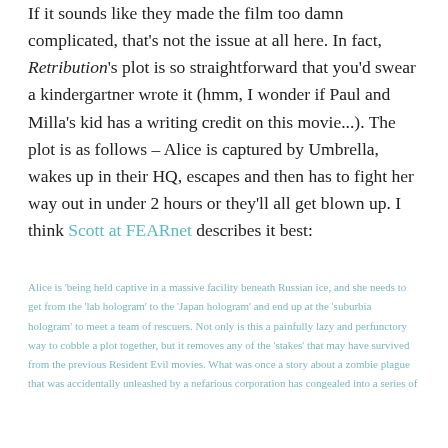If it sounds like they made the film too damn complicated, that's not the issue at all here. In fact, Retribution's plot is so straightforward that you'd swear a kindergartner wrote it (hmm, I wonder if Paul and Milla's kid has a writing credit on this movie...). The plot is as follows – Alice is captured by Umbrella, wakes up in their HQ, escapes and then has to fight her way out in under 2 hours or they'll all get blown up. I think Scott at FEARnet describes it best:
Alice is 'being held captive in a massive facility beneath Russian ice, and she needs to get from the 'lab hologram' to the 'Japan hologram' and end up at the 'suburbia hologram' to meet a team of rescuers. Not only is this a painfully lazy and perfunctory way to cobble a plot together, but it removes any of the 'stakes' that may have survived from the previous Resident Evil movies. What was once a story about a zombie plague that was accidentally unleashed by a nefarious corporation has congealed into a series of